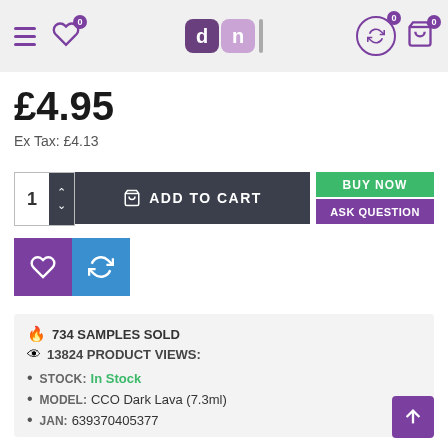dn store header navigation
£4.95
Ex Tax: £4.13
1  ADD TO CART | BUY NOW | ASK QUESTION
[Figure (screenshot): Wishlist and compare buttons]
734 SAMPLES SOLD
13824 PRODUCT VIEWS:
STOCK: In Stock
MODEL: CCO Dark Lava (7.3ml)
JAN: 639370405377